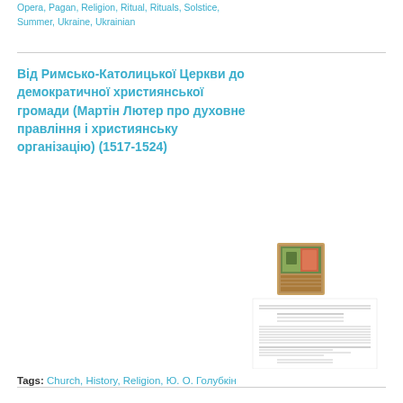Opera, Pagan, Religion, Ritual, Rituals, Solstice, Summer, Ukraine, Ukrainian
Від Римсько-Католицької Церкви до демократичної християнської громади (Мартін Лютер про духовне правління і християнську організацію) (1517-1524)
[Figure (photo): Thumbnail image of a book cover and document page related to the article about Martin Luther and church organization]
Tags: Church, History, Religion, Ю. О. Голубкін